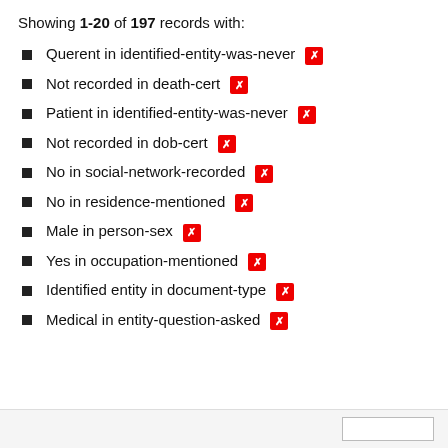Showing 1-20 of 197 records with:
Querent in identified-entity-was-never [x]
Not recorded in death-cert [x]
Patient in identified-entity-was-never [x]
Not recorded in dob-cert [x]
No in social-network-recorded [x]
No in residence-mentioned [x]
Male in person-sex [x]
Yes in occupation-mentioned [x]
Identified entity in document-type [x]
Medical in entity-question-asked [x]